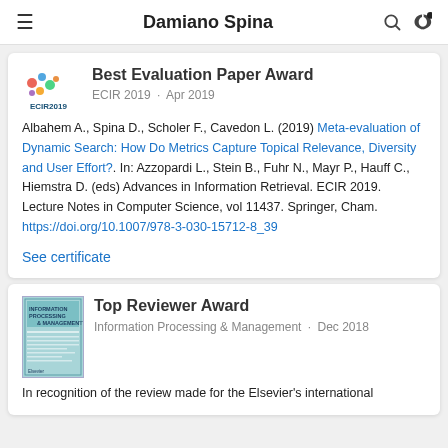Damiano Spina
Best Evaluation Paper Award
ECIR 2019 · Apr 2019
Albahem A., Spina D., Scholer F., Cavedon L. (2019) Meta-evaluation of Dynamic Search: How Do Metrics Capture Topical Relevance, Diversity and User Effort?. In: Azzopardi L., Stein B., Fuhr N., Mayr P., Hauff C., Hiemstra D. (eds) Advances in Information Retrieval. ECIR 2019. Lecture Notes in Computer Science, vol 11437. Springer, Cham. https://doi.org/10.1007/978-3-030-15712-8_39
See certificate
Top Reviewer Award
Information Processing & Management · Dec 2018
In recognition of the review made for the Elsevier's international